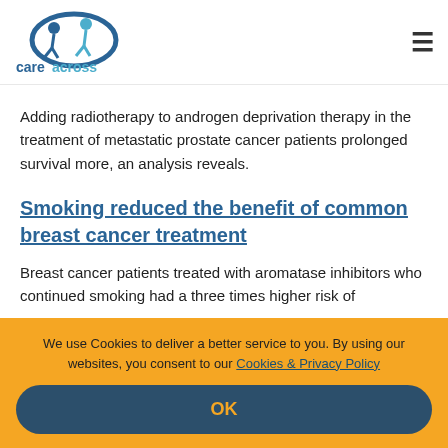care across
Adding radiotherapy to androgen deprivation therapy in the treatment of metastatic prostate cancer patients prolonged survival more, an analysis reveals.
Smoking reduced the benefit of common breast cancer treatment
Breast cancer patients treated with aromatase inhibitors who continued smoking had a three times higher risk of
We use Cookies to deliver a better service to you. By using our websites, you consent to our Cookies & Privacy Policy
OK